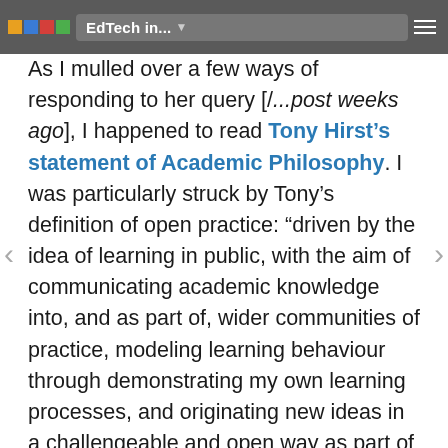EdTech in...
As I mulled over a few ways of responding to her query [/...post weeks ago], I happened to read Tony Hirst's statement of Academic Philosophy. I was particularly struck by Tony's definition of open practice: “driven by the idea of learning in public, with the aim of communicating academic knowledge into, and as part of, wider communities of practice, modeling learning behaviour through demonstrating my own learning processes, and originating new ideas in a challengeable and open way as part of my own learning journey.”
Tony’s statement frames the benefit of open practice as something that is publicly engaged, that broadens the impact of academic works, and that brings long-held ideals of scholarship